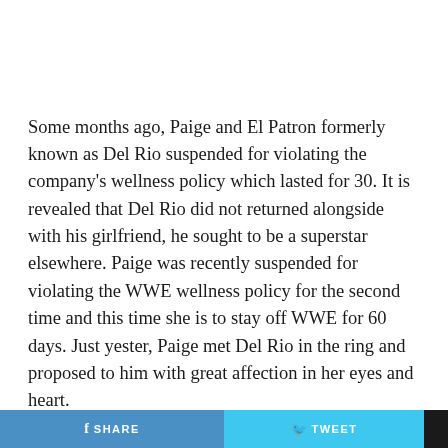Some months ago, Paige and El Patron formerly known as Del Rio suspended for violating the company's wellness policy which lasted for 30. It is revealed that Del Rio did not returned alongside with his girlfriend, he sought to be a superstar elsewhere. Paige was recently suspended for violating the WWE wellness policy for the second time and this time she is to stay off WWE for 60 days. Just yester, Paige met Del Rio in the ring and proposed to him with great affection in her eyes and heart.
SHARE  TWEET